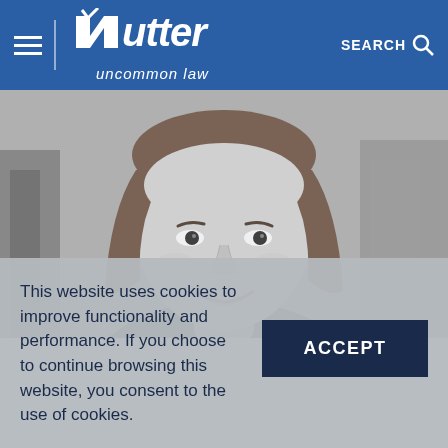Nutter — uncommon law | SEARCH
[Figure (photo): Black and white professional headshot of a woman with long reddish-brown hair, smiling, in front of a blurred urban/office background]
This website uses cookies to improve functionality and performance. If you choose to continue browsing this website, you consent to the use of cookies.